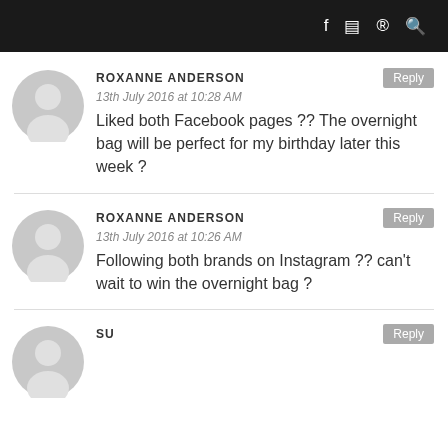Social media icons: f, camera, pinterest, search
ROXANNE ANDERSON
13th July 2016 at 10:28 AM
Liked both Facebook pages ?? The overnight bag will be perfect for my birthday later this week ?
ROXANNE ANDERSON
13th July 2016 at 10:26 AM
Following both brands on Instagram ?? can't wait to win the overnight bag ?
SU